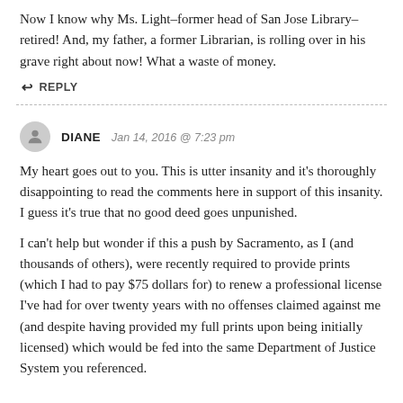Now I know why Ms. Light–former head of San Jose Library–retired! And, my father, a former Librarian, is rolling over in his grave right about now! What a waste of money.
↩ REPLY
DIANE   Jan 14, 2016 @ 7:23 pm
My heart goes out to you. This is utter insanity and it's thoroughly disappointing to read the comments here in support of this insanity. I guess it's true that no good deed goes unpunished.
I can't help but wonder if this a push by Sacramento, as I (and thousands of others), were recently required to provide prints (which I had to pay $75 dollars for) to renew a professional license I've had for over twenty years with no offenses claimed against me (and despite having provided my full prints upon being initially licensed) which would be fed into the same Department of Justice System you referenced.